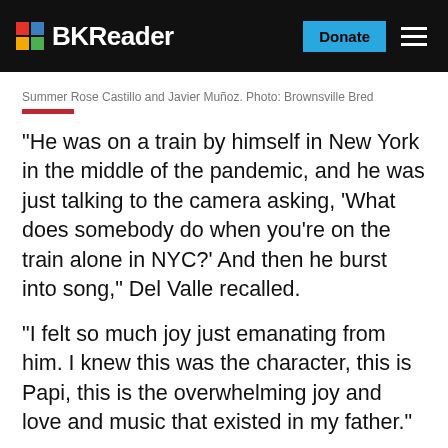BKReader | Donate
Summer Rose Castillo and Javier Muñoz. Photo: Brownsville Bred
“He was on a train by himself in New York in the middle of the pandemic, and he was just talking to the camera asking, ‘What does somebody do when you’re on the train alone in NYC?’ And then he burst into song,” Del Valle recalled.
“I felt so much joy just emanating from him. I knew this was the character, this is Papi, this is the overwhelming joy and love and music that existed in my father.”